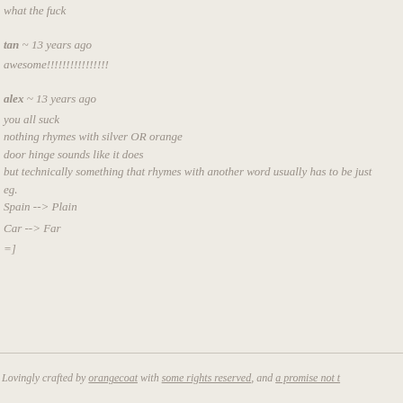what the fuck
tan ~ 13 years ago
awesome!!!!!!!!!!!!!!!!
alex ~ 13 years ago
you all suck
nothing rhymes with silver OR orange
door hinge sounds like it does
but technically something that rhymes with another word usually has to be just
eg.
Spain --> Plain
Car --> Far
=]
Lovingly crafted by orangecoat with some rights reserved, and a promise not t